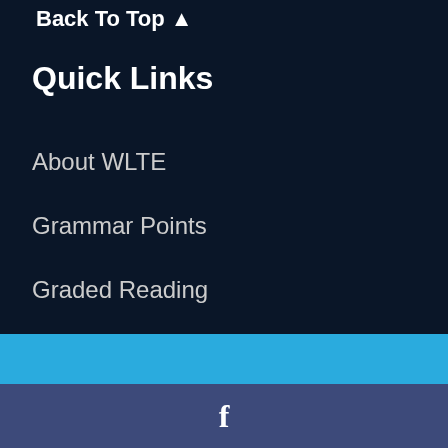Back To Top ▲
Quick Links
About WLTE
Grammar Points
Graded Reading
This website uses cookies to ensure you get the best experience on our website. Please take moment to read our cookie policy.
More info
No thanks!
Yes please!
f